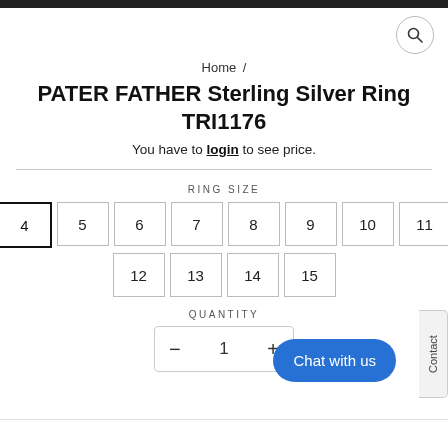Home / PATER FATHER Sterling Silver Ring TRI1176
PATER FATHER Sterling Silver Ring TRI1176
You have to login to see price.
RING SIZE
4 (selected), 5, 6, 7, 8, 9, 10, 11, 12, 13, 14, 15
QUANTITY
1
Chat with us
Contact